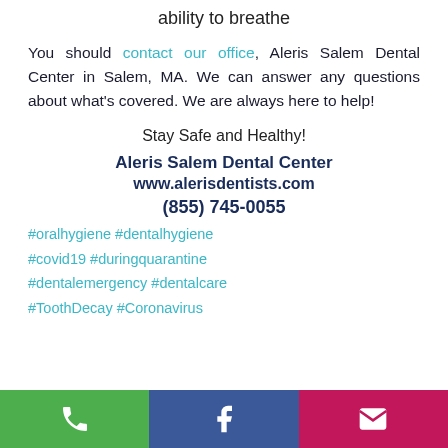ability to breathe
You should contact our office, Aleris Salem Dental Center in Salem, MA. We can answer any questions about what's covered. We are always here to help!
Stay Safe and Healthy!
Aleris Salem Dental Center
www.alerisdentists.com
(855) 745-0055
#oralhygiene #dentalhygiene #covid19 #duringquarantine #dentalemergency #dentalcare #ToothDecay #Coronavirus
[Figure (infographic): Footer bar with three colored icon buttons: green phone icon, blue Facebook icon, pink/magenta email envelope icon]